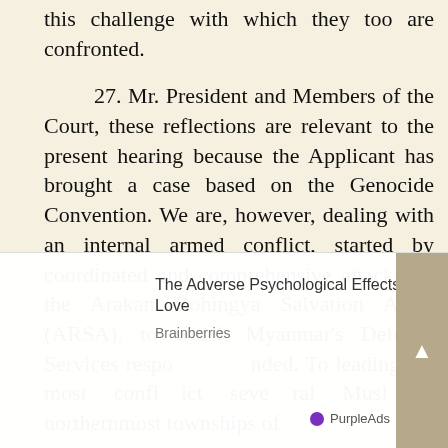this challenge with which they too are confronted.
27. Mr. President and Members of the Court, these reflections are relevant to the present hearing because the Applicant has brought a case based on the Genocide Convention. We are, however, dealing with an internal armed conflict, started by coordinated and comprehensive attacks by the Arakan Rohingya Salvation Army (ARSA), to which Myanmar's Defence Services responded. To leading this most conflict... several... Muslim... northernmost townships of